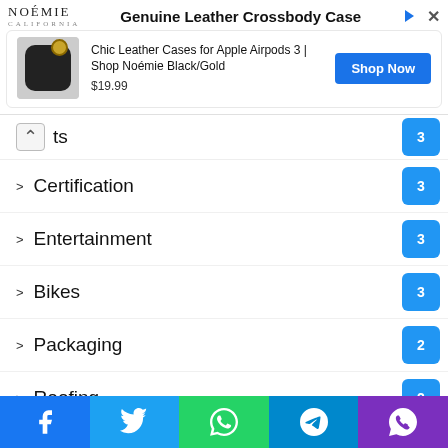[Figure (screenshot): Ad banner for Noémie Genuine Leather Crossbody Case with product image, price $19.99 and Shop Now button]
ts [partially visible] — badge: 3
Certification — badge: 3
Entertainment — badge: 3
Bikes — badge: 3
Packaging — badge: 2
Roofing — badge: 2
Shoes — badge: 2
Celebs — badge: 2
Gifts
Wild life
[Figure (screenshot): Social sharing bar with Facebook, Twitter, WhatsApp, Telegram, and Viber buttons]